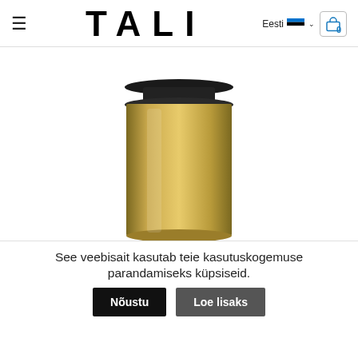TALI — Eesti language selector, cart icon
[Figure (photo): A gold/bronze colored stainless steel travel mug with a black lid, photographed on a white background.]
See veebisait kasutab teie kasutuskogemuse parandamiseks küpsiseid.
Nõustu   Loe lisaks